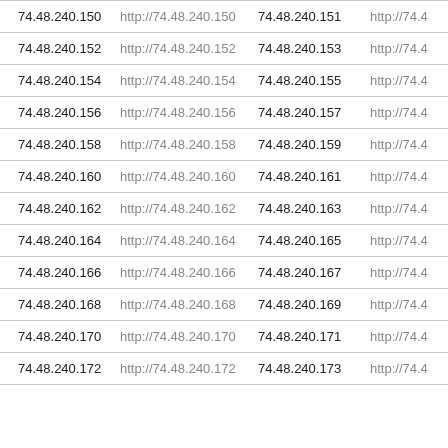| 74.48.240.150 | http://74.48.240.150 | 74.48.240.151 | http://74.4 |
| 74.48.240.152 | http://74.48.240.152 | 74.48.240.153 | http://74.4 |
| 74.48.240.154 | http://74.48.240.154 | 74.48.240.155 | http://74.4 |
| 74.48.240.156 | http://74.48.240.156 | 74.48.240.157 | http://74.4 |
| 74.48.240.158 | http://74.48.240.158 | 74.48.240.159 | http://74.4 |
| 74.48.240.160 | http://74.48.240.160 | 74.48.240.161 | http://74.4 |
| 74.48.240.162 | http://74.48.240.162 | 74.48.240.163 | http://74.4 |
| 74.48.240.164 | http://74.48.240.164 | 74.48.240.165 | http://74.4 |
| 74.48.240.166 | http://74.48.240.166 | 74.48.240.167 | http://74.4 |
| 74.48.240.168 | http://74.48.240.168 | 74.48.240.169 | http://74.4 |
| 74.48.240.170 | http://74.48.240.170 | 74.48.240.171 | http://74.4 |
| 74.48.240.172 | http://74.48.240.172 | 74.48.240.173 | http://74.4 |